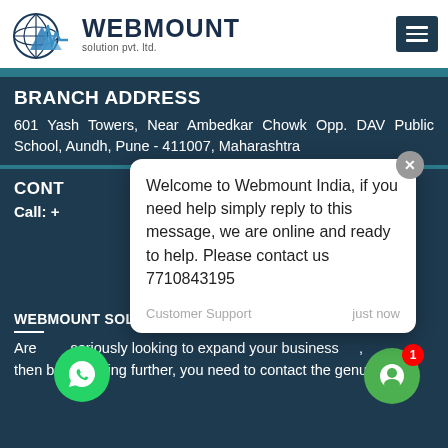[Figure (logo): Webmount Solution Pvt. Ltd. logo with globe and mountain/heartbeat graphic]
WEBMOUNT solution pvt. ltd.
BRANCH ADDRESS
601 Yash Towers, Near Ambedkar Chowk Opp. DAV Public School, Aundh, Pune - 411007, Maharashtra
CONTACT
Call: +
[Figure (screenshot): Chat popup overlay: 'Welcome to Webmount India, if you need help simply reply to this message, we are online and ready to help. Please contact us 7710843195' — Customer Support — just now]
WEBMOUNT SOLUTION PVT. LTD.
Are you seriously looking to expand your business, then before going further, you need to contact the genuine